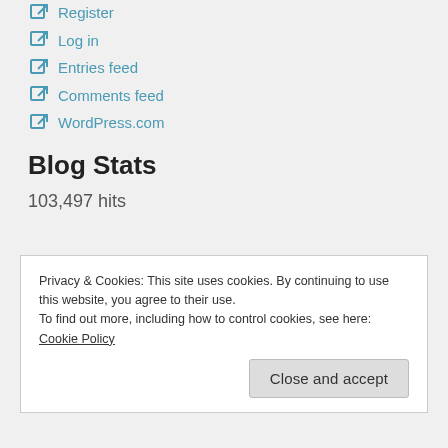Register
Log in
Entries feed
Comments feed
WordPress.com
Blog Stats
103,497 hits
Privacy & Cookies: This site uses cookies. By continuing to use this website, you agree to their use.
To find out more, including how to control cookies, see here: Cookie Policy
Close and accept